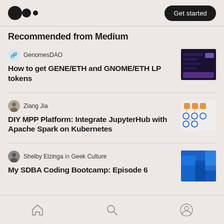Medium logo and Get started button
Recommended from Medium
GenomesDAO — How to get GENE/ETH and GNOME/ETH LP tokens
Ziang Jia — DIY MPP Platform: Integrate JupyterHub with Apache Spark on Kubernetes
Shelby Elzinga in Geek Culture — My SDBA Coding Bootcamp: Episode 6
Home, Search, Profile navigation icons